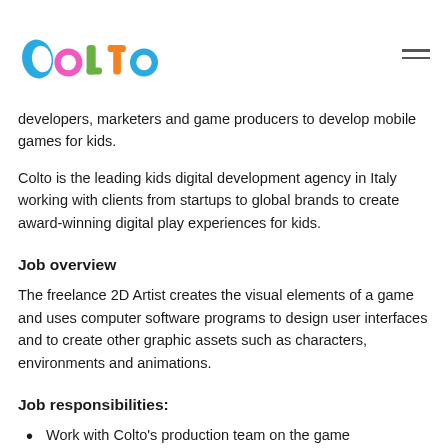Colto logo and navigation
developers, marketers and game producers to develop mobile games for kids.
Colto is the leading kids digital development agency in Italy working with clients from startups to global brands to create award-winning digital play experiences for kids.
Job overview
The freelance 2D Artist creates the visual elements of a game and uses computer software programs to design user interfaces and to create other graphic assets such as characters, environments and animations.
Job responsibilities:
Work with Colto's production team on the game development cycle for new projects;